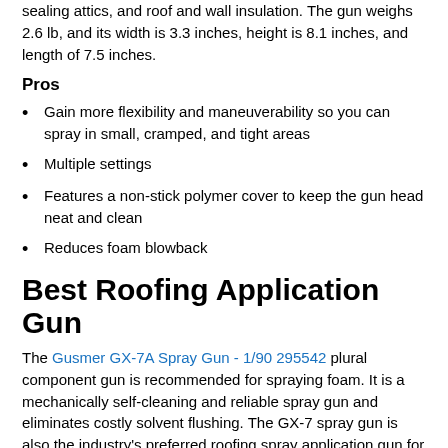sealing attics, and roof and wall insulation. The gun weighs 2.6 lb, and its width is 3.3 inches, height is 8.1 inches, and length of 7.5 inches.
Pros
Gain more flexibility and maneuverability so you can spray in small, cramped, and tight areas
Multiple settings
Features a non-stick polymer cover to keep the gun head neat and clean
Reduces foam blowback
Best Roofing Application Gun
The Gusmer GX-7A Spray Gun - 1/90 295542 plural component gun is recommended for spraying foam. It is a mechanically self-cleaning and reliable spray gun and eliminates costly solvent flushing. The GX-7 spray gun is also the industry's preferred roofing spray application gun for applying two-component foam systems.
In addition to roofing applications, it is also used in tank and pipe coatings foam